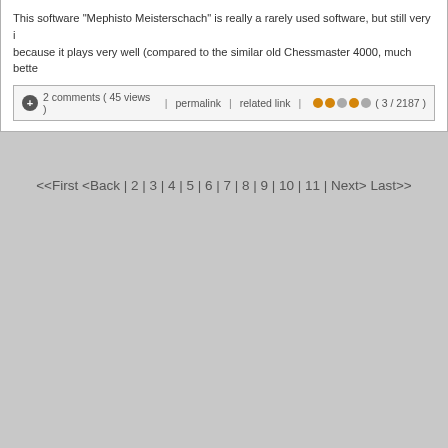This software "Mephisto Meisterschach" is really a rarely used software, but still very i... because it plays very well (compared to the similar old Chessmaster 4000, much bette...
2 comments ( 45 views )  |  permalink  |  related link  |  ●●○●○  ( 3 / 2187 )
<<First <Back | 2 | 3 | 4 | 5 | 6 | 7 | 8 | 9 | 10 | 11 | Next> Last>>